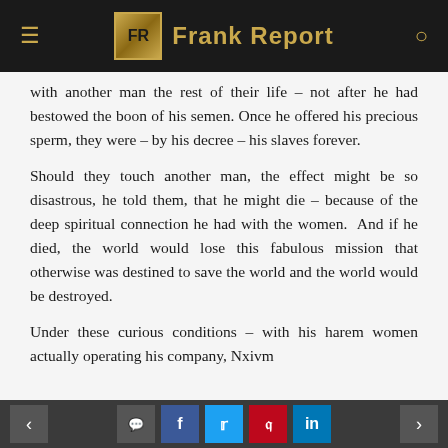Frank Report
with another man the rest of their life – not after he had bestowed the boon of his semen. Once he offered his precious sperm, they were – by his decree – his slaves forever.
Should they touch another man, the effect might be so disastrous, he told them, that he might die – because of the deep spiritual connection he had with the women.  And if he died, the world would lose this fabulous mission that otherwise was destined to save the world and the world would be destroyed.
Under these curious conditions – with his harem women actually operating his company, Nxivm